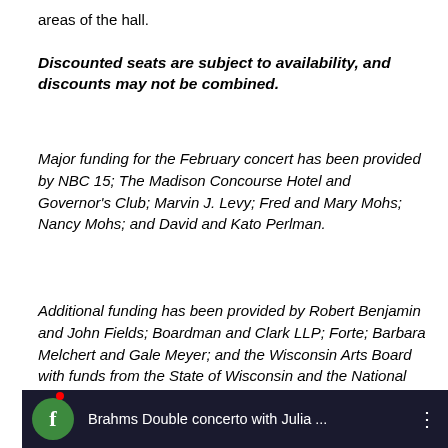areas of the hall.
Discounted seats are subject to availability, and discounts may not be combined.
Major funding for the February concert has been provided by NBC 15; The Madison Concourse Hotel and Governor's Club; Marvin J. Levy; Fred and Mary Mohs; Nancy Mohs; and David and Kato Perlman.
Additional funding has been provided by Robert Benjamin and John Fields; Boardman and Clark LLP; Forte; Barbara Melchert and Gale Meyer; and the Wisconsin Arts Board with funds from the State of Wisconsin and the National Endowment for the Arts.
[Figure (screenshot): Facebook video thumbnail showing 'Brahms Double concerto with Julia ...' with a green Facebook circle icon on a dark background, and a three-dot menu icon on the right.]